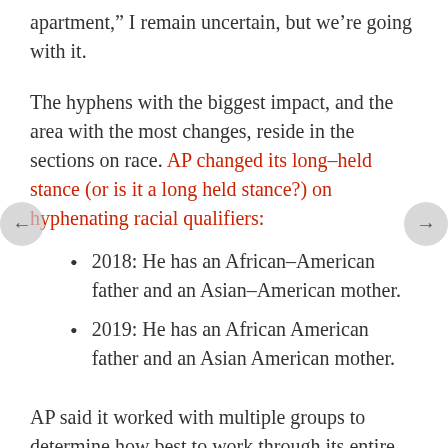apartment,” I remain uncertain, but we’re going with it.
The hyphens with the biggest impact, and the area with the most changes, reside in the sections on race. AP changed its long–held stance (or is it a long held stance?) on hyphenating racial qualifiers:
2018: He has an African–American father and an Asian–American mother.
2019: He has an African American father and an Asian American mother.
AP said it worked with multiple groups to determine how best to work through its entire section on race and that the issue of